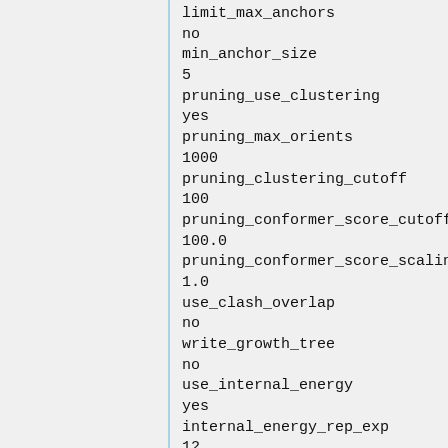limit_max_anchors
no
min_anchor_size
5
pruning_use_clustering
yes
pruning_max_orients
1000
pruning_clustering_cutoff
100
pruning_conformer_score_cutoff
100.0
pruning_conformer_score_scaling
1.0
use_clash_overlap
no
write_growth_tree
no
use_internal_energy
yes
internal_energy_rep_exp
12
internal_energy_cutoff
100.0
ligand_atom_file